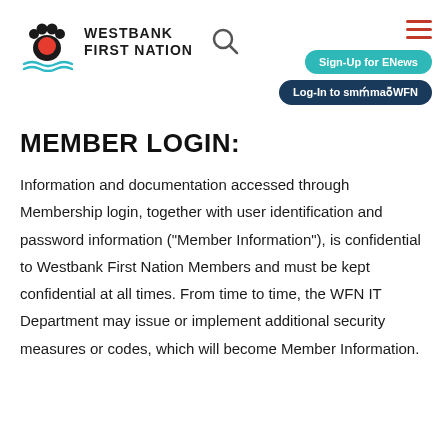[Figure (logo): Westbank First Nation logo with bear paw and waves icon, text reading WESTBANK FIRST NATION]
Sign-Up for ENews | Log-In to smỷmaỷWFN
MEMBER LOGIN:
Information and documentation accessed through Membership login, together with user identification and password information ("Member Information"), is confidential to Westbank First Nation Members and must be kept confidential at all times. From time to time, the WFN IT Department may issue or implement additional security measures or codes, which will become Member Information.